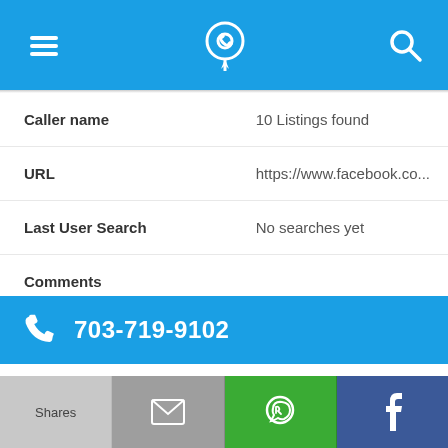[Figure (screenshot): Top navigation bar with hamburger menu icon, phone/location pin icon in center, and search icon on right, on blue background]
| Field | Value |
| --- | --- |
| Caller name | 10 Listings found |
| URL | https://www.facebook.co... |
| Last User Search | No searches yet |
| Comments |  |
703-719-9102
Alternate Form  7037199102
[Figure (screenshot): Bottom action bar with four buttons: Shares (light gray), email icon (gray), WhatsApp icon (green), Facebook icon (dark blue)]